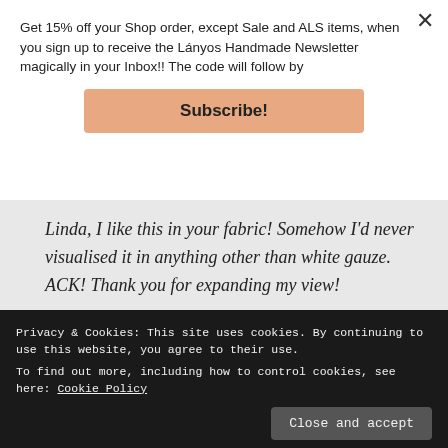Get 15% off your Shop order, except Sale and ALS items, when you sign up to receive the Lányos Handmade Newsletter magically in your Inbox!! The code will follow by
Subscribe!
Linda, I like this in your fabric! Somehow I'd never visualised it in anything other than white gauze. ACK! Thank you for expanding my view!
Loading...
Privacy & Cookies: This site uses cookies. By continuing to use this website, you agree to their use. To find out more, including how to control cookies, see here: Cookie Policy
Close and accept
Linda of Lányos Handmade / Nice